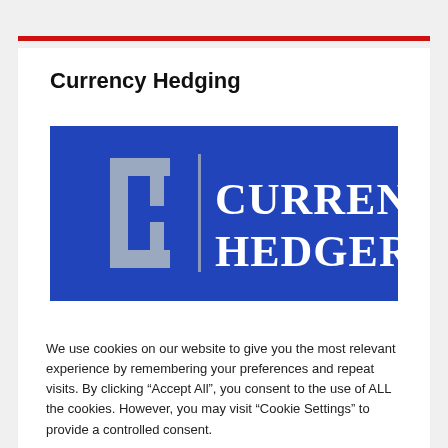Currency Hedging
[Figure (logo): Currency Hedger logo on blue background with a stylized bracket/pipe icon on the left and 'CURRENCY HEDGER' text in large white serif letters on the right.]
We use cookies on our website to give you the most relevant experience by remembering your preferences and repeat visits. By clicking “Accept All”, you consent to the use of ALL the cookies. However, you may visit “Cookie Settings” to provide a controlled consent.